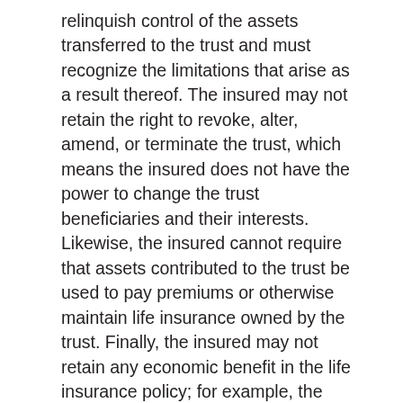relinquish control of the assets transferred to the trust and must recognize the limitations that arise as a result thereof. The insured may not retain the right to revoke, alter, amend, or terminate the trust, which means the insured does not have the power to change the trust beneficiaries and their interests. Likewise, the insured cannot require that assets contributed to the trust be used to pay premiums or otherwise maintain life insurance owned by the trust. Finally, the insured may not retain any economic benefit in the life insurance policy; for example, the insured will not be able to cash in or borrow against the cash surrender value of any life insurance policy after it is transferred to the trust.
Keep in mind that the cost and availability of life insurance depend on factors such as age, health, and the type and amount of insurance purchased. Before implementing this strategy, it would be prudent to make sure that you are insurable. As with most financial decisions, there are expenses associated with